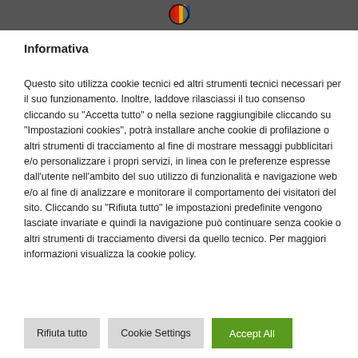[Figure (logo): Website header bar with dark gray background, red top stripe, and a colorful logo/emblem in the center.]
Informativa
Questo sito utilizza cookie tecnici ed altri strumenti tecnici necessari per il suo funzionamento. Inoltre, laddove rilasciassi il tuo consenso cliccando su "Accetta tutto" o nella sezione raggiungibile cliccando su "Impostazioni cookies", potrà installare anche cookie di profilazione o altri strumenti di tracciamento al fine di mostrare messaggi pubblicitari e/o personalizzare i propri servizi, in linea con le preferenze espresse dall'utente nell'ambito del suo utilizzo di funzionalità e navigazione web e/o al fine di analizzare e monitorare il comportamento dei visitatori del sito. Cliccando su "Rifiuta tutto" le impostazioni predefinite vengono lasciate invariate e quindi la navigazione può continuare senza cookie o altri strumenti di tracciamento diversi da quello tecnico. Per maggiori informazioni visualizza la cookie policy.
Rifiuta tutto
Cookie Settings
Accept All